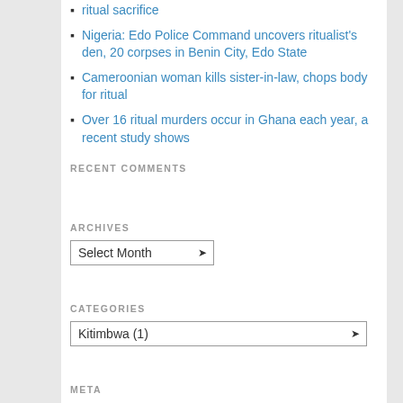ritual sacrifice
Nigeria: Edo Police Command uncovers ritualist's den, 20 corpses in Benin City, Edo State
Cameroonian woman kills sister-in-law, chops body for ritual
Over 16 ritual murders occur in Ghana each year, a recent study shows
RECENT COMMENTS
ARCHIVES
Select Month (dropdown)
CATEGORIES
Kitimbwa  (1) (dropdown)
META
Log in
Entries feed
Comments feed